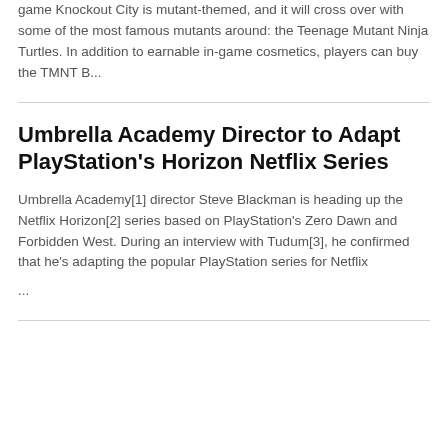game Knockout City is mutant-themed, and it will cross over with some of the most famous mutants around: the Teenage Mutant Ninja Turtles. In addition to earnable in-game cosmetics, players can buy the TMNT B...
Umbrella Academy Director to Adapt PlayStation's Horizon Netflix Series
Umbrella Academy[1] director Steve Blackman is heading up the Netflix Horizon[2] series based on PlayStation's Zero Dawn and Forbidden West. During an interview with Tudum[3], he confirmed that he's adapting the popular PlayStation series for Netflix ...